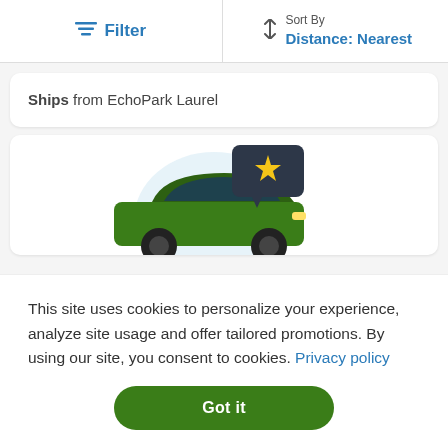Filter | Sort By Distance: Nearest
Ships from EchoPark Laurel
[Figure (illustration): Green SUV car with a dark speech bubble containing a yellow star icon, on a light blue circular background]
This site uses cookies to personalize your experience, analyze site usage and offer tailored promotions. By using our site, you consent to cookies. Privacy policy
Got it